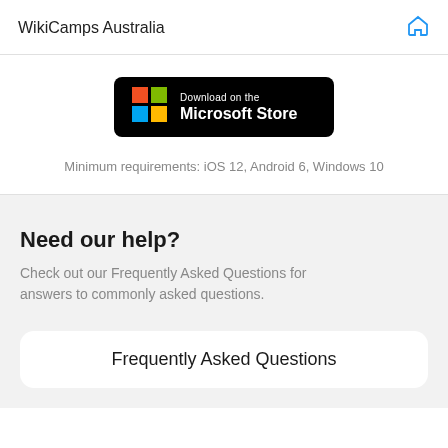WikiCamps Australia
[Figure (logo): Download on the Microsoft Store badge with Microsoft Windows logo (four colored squares: red, green, blue, yellow) on black background]
Minimum requirements: iOS 12, Android 6, Windows 10
Need our help?
Check out our Frequently Asked Questions for answers to commonly asked questions.
Frequently Asked Questions